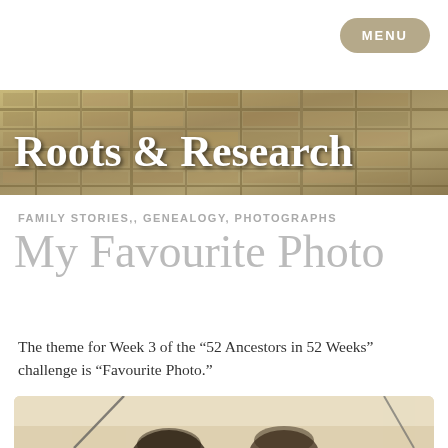MENU
[Figure (photo): Aerial sepia-toned photograph used as banner background for 'Roots & Research' blog header]
Roots & Research
FAMILY STORIES,, GENEALOGY, PHOTOGRAPHS
My Favourite Photo
The theme for Week 3 of the “52 Ancestors in 52 Weeks” challenge is “Favourite Photo.”
[Figure (photo): Vintage black and white photograph showing two people, partially visible, cropped at bottom of page]